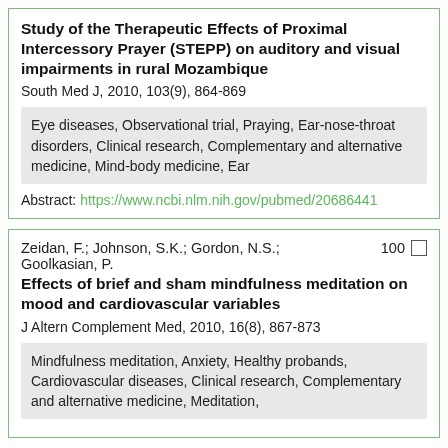Study of the Therapeutic Effects of Proximal Intercessory Prayer (STEPP) on auditory and visual impairments in rural Mozambique
South Med J, 2010, 103(9), 864-869
Eye diseases, Observational trial, Praying, Ear-nose-throat disorders, Clinical research, Complementary and alternative medicine, Mind-body medicine, Ear
Abstract: https://www.ncbi.nlm.nih.gov/pubmed/20686441
Zeidan, F.; Johnson, S.K.; Gordon, N.S.; Goolkasian, P.
Effects of brief and sham mindfulness meditation on mood and cardiovascular variables
J Altern Complement Med, 2010, 16(8), 867-873
Mindfulness meditation, Anxiety, Healthy probands, Cardiovascular diseases, Clinical research, Complementary and alternative medicine, Meditation,